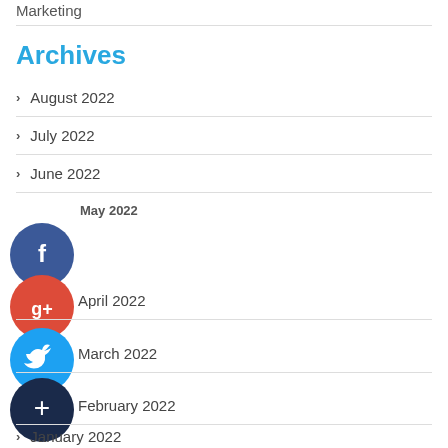Marketing
Archives
> August 2022
> July 2022
> June 2022
> May 2022
> April 2022
> March 2022
> February 2022
> January 2022